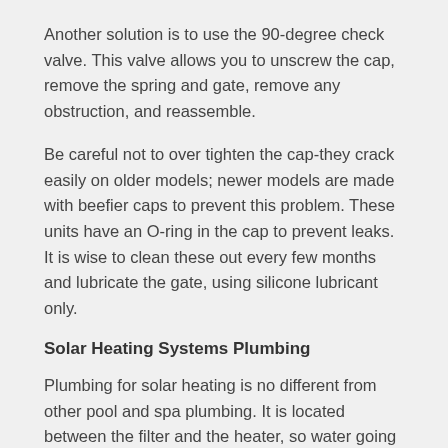Another solution is to use the 90-degree check valve. This valve allows you to unscrew the cap, remove the spring and gate, remove any obstruction, and reassemble.
Be careful not to over tighten the cap-they crack easily on older models; newer models are made with beefier caps to prevent this problem. These units have an O-ring in the cap to prevent leaks. It is wise to clean these out every few months and lubricate the gate, using silicone lubricant only.
Solar Heating Systems Plumbing
Plumbing for solar heating is no different from other pool and spa plumbing. It is located between the filter and the heater, so water going to the solar panels is free of debris and is available for solar heating.